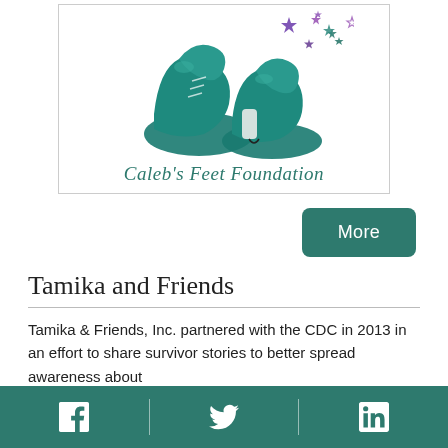[Figure (logo): Caleb's Feet Foundation logo: illustration of teal/turquoise shoes with stars above and the text 'Caleb's Feet Foundation' in italic teal script below]
More
Tamika and Friends
Tamika & Friends, Inc. partnered with the CDC in 2013 in an effort to share survivor stories to better spread awareness about
Facebook | Twitter | LinkedIn